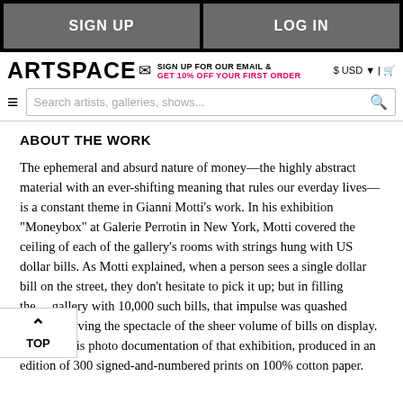SIGN UP | LOG IN
ARTSPACE — SIGN UP FOR OUR EMAIL & GET 10% OFF YOUR FIRST ORDER — $ USD | cart
ABOUT THE WORK
The ephemeral and absurd nature of money—the highly abstract material with an ever-shifting meaning that rules our everday lives—is a constant theme in Gianni Motti's work. In his exhibition "Moneybox" at Galerie Perrotin in New York, Motti covered the ceiling of each of the gallery's rooms with strings hung with US dollar bills. As Motti explained, when a person sees a single dollar bill on the street, they don't hesitate to pick it up; but in filling the gallery with 10,000 such bills, that impulse was quashed in observing the spectacle of the sheer volume of bills on display. This work is photo documentation of that exhibition, produced in an edition of 300 signed-and-numbered prints on 100% cotton paper.